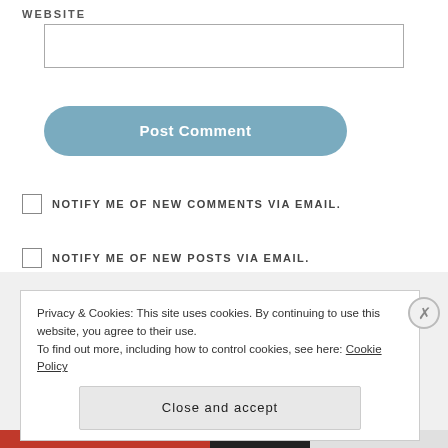WEBSITE
[Figure (screenshot): Empty website input text field with grey border]
[Figure (screenshot): Post Comment button, rounded, steel blue color]
NOTIFY ME OF NEW COMMENTS VIA EMAIL.
NOTIFY ME OF NEW POSTS VIA EMAIL.
Privacy & Cookies: This site uses cookies. By continuing to use this website, you agree to their use.
To find out more, including how to control cookies, see here: Cookie Policy
Close and accept